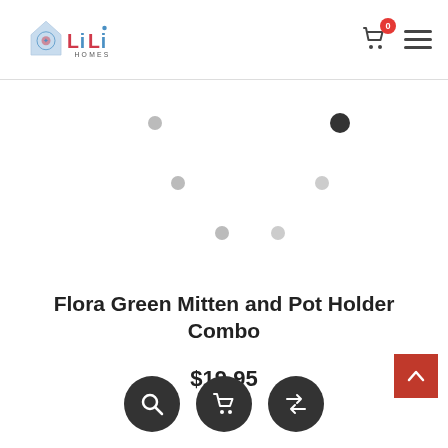[Figure (logo): Lili Homes logo with house icon and decorative tile pattern]
[Figure (infographic): Carousel navigation dots — one dark/active, several light grey dots arranged in a scattered pattern]
Flora Green Mitten and Pot Holder Combo
$19.95
[Figure (infographic): Three dark circular action buttons: search icon, shopping cart icon, and shuffle/compare icon; plus a red scroll-to-top button with up arrow]